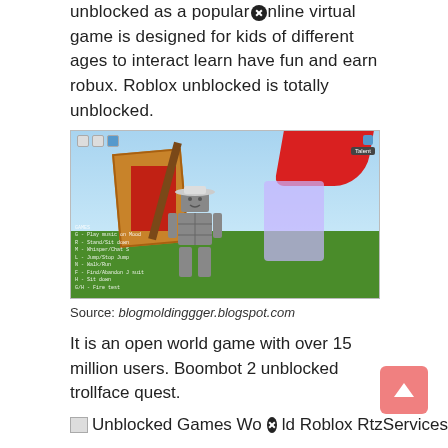unblocked as a popular online virtual game is designed for kids of different ages to interact learn have fun and earn robux. Roblox unblocked is totally unblocked.
[Figure (screenshot): Screenshot of a Roblox game showing a blocky robot character standing on green grass with a sky background, red shapes, orange board with curtain, and purple glowing objects. UI elements visible.]
Source: blogmoldinggger.blogspot.com
It is an open world game with over 15 million users. Boombot 2 unblocked trollface quest.
Unblocked Games World Roblox RtzServices